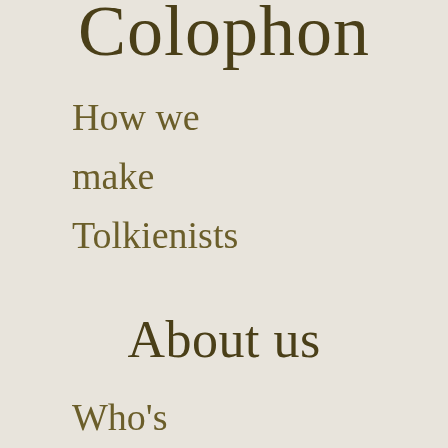Colophon
How we make Tolkienists
About us
Who's